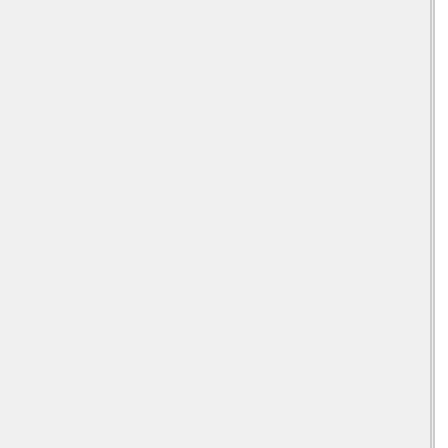It is still warm inside late afternoon, but cooler than outside. I learnt these tips from the Greeks about how to cool a house. It is not hot enough, often enough for me to think about AC, although I much more prefer the cold to the heat.
Europe has been having the heat wave, but they generally have higher temperatures than the UK, so 30C is hot for UK, but cool for Spain and Greece.
Global warming is a